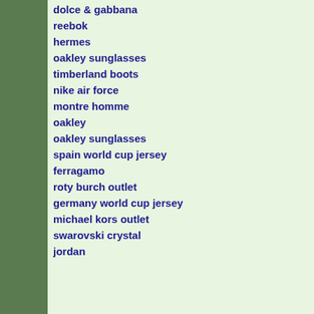dolce & gabbana
reebok
hermes
oakley sunglasses
timberland boots
nike air force
montre homme
oakley
oakley sunglasses
spain world cup jersey
ferragamo
roty burch outlet
germany world cup jersey
michael kors outlet
swarovski crystal
jordan